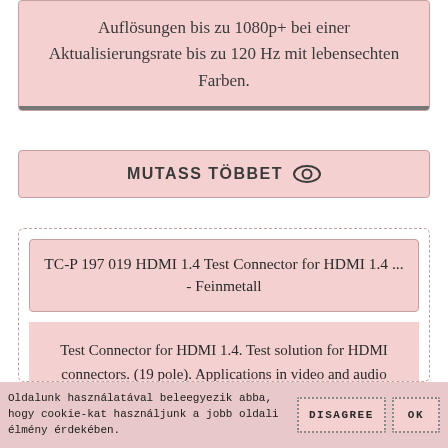Auflösungen bis zu 1080p+ bei einer Aktualisierungsrate bis zu 120 Hz mit lebensechten Farben.
MUTASS TÖBBET
TC-P 197 019 HDMI 1.4 Test Connector for HDMI 1.4 ... - Feinmetall
Test Connector for HDMI 1.4. Test solution for HDMI connectors. (19 pole). Applications in video and audio systems. Features: → Smooth contact to test item.
Oldalunk használatával beleegyezik abba, hogy cookie-kat használjunk a jobb oldali élmény érdekében.